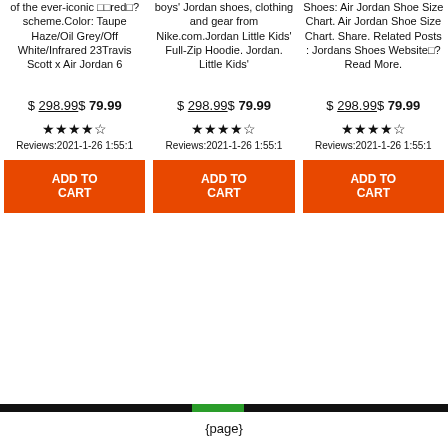of the ever-iconic □□red□? scheme.Color: Taupe Haze/Oil Grey/Off White/Infrared 23Travis Scott x Air Jordan 6
boys' Jordan shoes, clothing and gear from Nike.com.Jordan Little Kids' Full-Zip Hoodie. Jordan. Little Kids'
Shoes: Air Jordan Shoe Size Chart. Air Jordan Shoe Size Chart. Share. Related Posts : Jordans Shoes Website□? Read More.
$ 298.99$ 79.99
$ 298.99$ 79.99
$ 298.99$ 79.99
★★★★☆ Reviews:2021-1-26 1:55:1
★★★★☆ Reviews:2021-1-26 1:55:1
★★★★☆ Reviews:2021-1-26 1:55:1
ADD TO CART
ADD TO CART
ADD TO CART
{page}